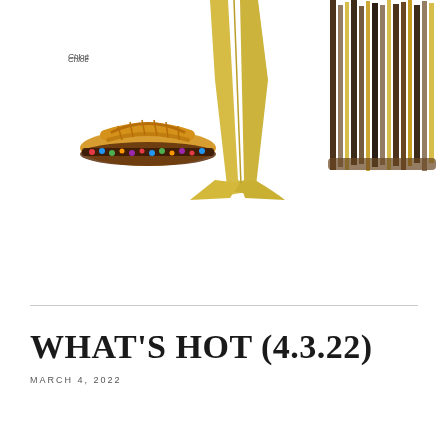[Figure (photo): Three fashion product images arranged horizontally: a yellow/amber woven sandal with multicolor jeweled trim (Chloé labeled), yellow wide-leg flared trousers, and a bundle of striped brown/cream/yellow sticks or rods]
Chloé
WHAT'S HOT (4.3.22)
MARCH 4, 2022